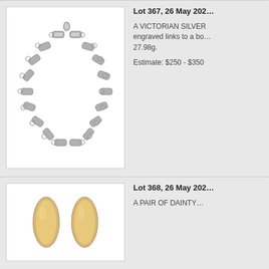Lot 367, 26 May 202…
A VICTORIAN SILVER engraved links to a bo… 27.98g.
Estimate: $250 - $350
[Figure (photo): Victorian silver engraved link necklace/bracelet on white background]
Lot 368, 26 May 202…
A PAIR OF DAINTY…